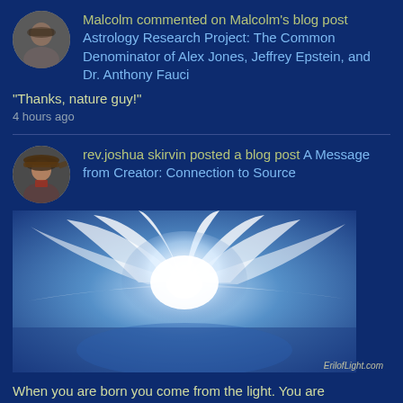Malcolm commented on Malcolm's blog post Astrology Research Project: The Common Denominator of Alex Jones, Jeffrey Epstein, and Dr. Anthony Fauci
"Thanks, nature guy!"
4 hours ago
rev.joshua skirvin posted a blog post A Message from Creator: Connection to Source
[Figure (illustration): Bright white light burst with wing-like rays spreading outward against a blue sky background, with watermark ErilofLight.com]
When you are born you come from the light. You are